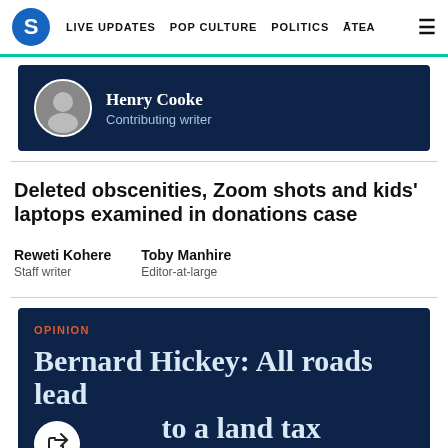S  LIVE UPDATES  POP CULTURE  POLITICS  ĀTEA  ☰
[Figure (photo): Circular avatar photo of Henry Cooke, contributor, in a dark navy banner card]
Henry Cooke
Contributing writer
Deleted obscenities, Zoom shots and kids' laptops examined in donations case
Reweti Kohere
Staff writer
Toby Manhire
Editor-at-large
OPINION
Bernard Hickey: All roads lead to a land tax
Bernard Hickey
Contributing podcaster